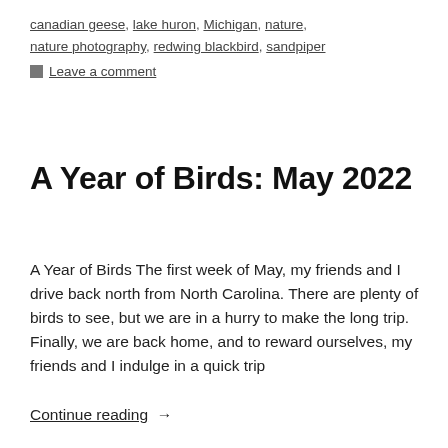canadian geese, lake huron, Michigan, nature, nature photography, redwing blackbird, sandpiper
Leave a comment
A Year of Birds: May 2022
A Year of Birds The first week of May, my friends and I drive back north from North Carolina. There are plenty of birds to see, but we are in a hurry to make the long trip. Finally, we are back home, and to reward ourselves, my friends and I indulge in a quick trip
Continue reading →